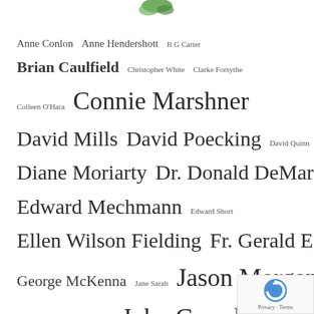[Figure (logo): Partial green leaf/logo at top center]
Anne Conlon  Anne Hendershott  B G Carter
Brian Caulfield  Christopher White  Clarke Forsythe
Colleen O'Hara  Connie Marshner
David Mills  David Poecking  David Quinn
Diane Moriarty  Dr. Donald DeMarco
Edward Mechmann  Edward Short
Ellen Wilson Fielding  Fr. Gerald E. Murray
George McKenna  Jane Sarah  Jason Morgan
Joe Bissonnette  John Grondelski
Kathryn Jean Lopez  Kristan Hawkins  Laura Echevarria
Madeline Fry Schultz
Maria McFaddon Maffucci